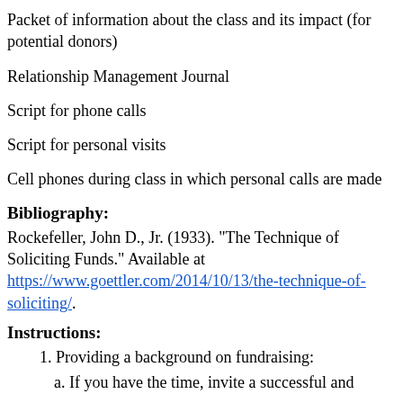Packet of information about the class and its impact (for potential donors)
Relationship Management Journal
Script for phone calls
Script for personal visits
Cell phones during class in which personal calls are made
Bibliography:
Rockefeller, John D., Jr. (1933). "The Technique of Soliciting Funds." Available at https://www.goettler.com/2014/10/13/the-technique-of-soliciting/.
Instructions:
1. Providing a background on fundraising:
a. If you have the time, invite a successful and